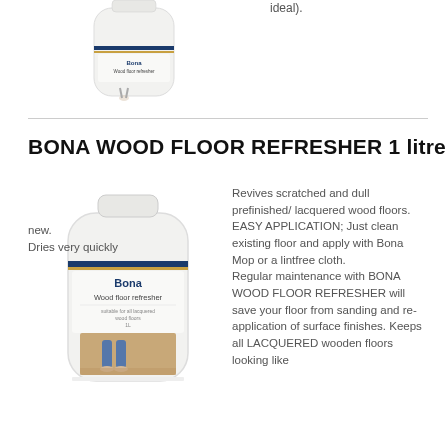[Figure (photo): Bona product bottle (smaller, top section)]
ideal).
BONA WOOD FLOOR REFRESHER 1 litre
[Figure (photo): Bona Wood Floor Refresher 1 litre bottle with child walking on wood floor]
Revives scratched and dull prefinished/ lacquered wood floors.
EASY APPLICATION; Just clean existing floor and apply with Bona Mop or a lintfree cloth.
Regular maintenance with BONA WOOD FLOOR REFRESHER will save your floor from sanding and re-application of surface finishes. Keeps all LACQUERED wooden floors looking like new.
Dries very quickly